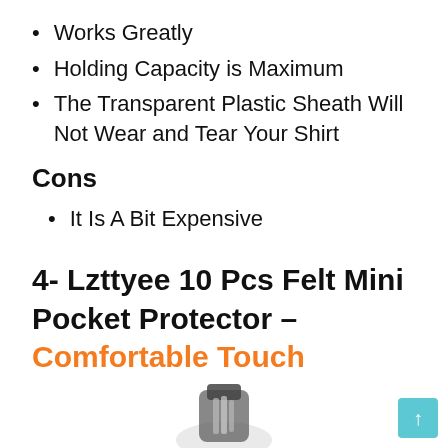Works Greatly
Holding Capacity is Maximum
The Transparent Plastic Sheath Will Not Wear and Tear Your Shirt
Cons
It Is A Bit Expensive
4- Lzttyee 10 Pcs Felt Mini Pocket Protector – Comfortable Touch
[Figure (photo): Partial product photo of a pocket protector at the bottom of the page]